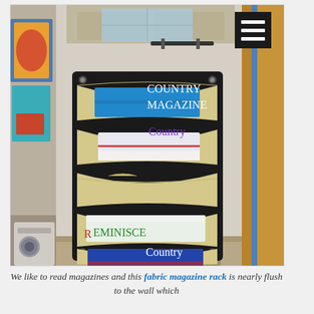[Figure (photo): A black fabric magazine rack mounted on an interior wall of an RV or camper, holding several magazines including Country and Reminisce. The rack has multiple beige/tan pockets and is hung flush against a light-colored wall. Wooden trim and a door frame are visible to the right.]
We like to read magazines and this fabric magazine rack is nearly flush to the wall which